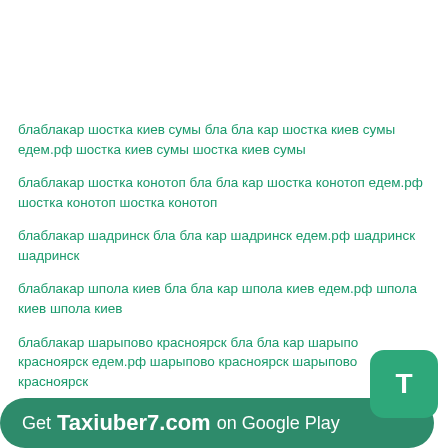блаблакар шостка киев сумы бла бла кар шостка киев сумы едем.рф шостка киев сумы шостка киев сумы
блаблакар шостка конотоп бла бла кар шостка конотоп едем.рф шостка конотоп шостка конотоп
блаблакар шадринск бла бла кар шадринск едем.рф шадринск шадринск
блаблакар шпола киев бла бла кар шпола киев едем.рф шпола киев шпола киев
блаблакар шарыпово красноярск бла бла кар шарыпово красноярск едем.рф шарыпово красноярск шарыпово красноярск
блаблакар щецин львів бла бла кар щецин львів едем.рф це...
Get Taxiuber7.com on Google Play